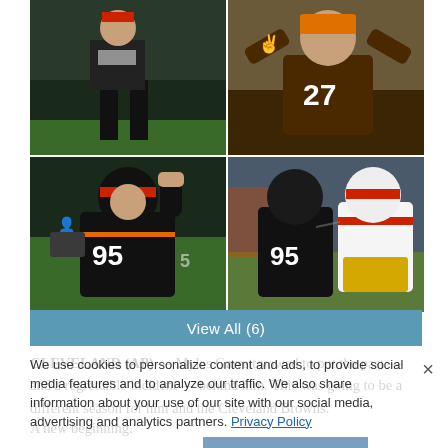[Figure (photo): Four NFL football photos in a 2x2 grid: top-left shows a coach on sideline, top-right shows player #27 in Cleveland Browns uniform with orange beanie, bottom-left shows player #95 celebrating, bottom-right shows player #95 in game action against Washington player]
View All (6)
We use cookies to personalize content and ads, to provide social media features and to analyze our traffic. We also share information about your use of our site with our social media, advertising and analytics partners. Privacy Policy
CLEVELAND (AP) — Myles Garrett vowed to put the past — and a regrettable incident — behind him. This was going to be a different season for him and the Cleveland Browns.
Cookies Settings
Accept All Cookies
A new beginning.